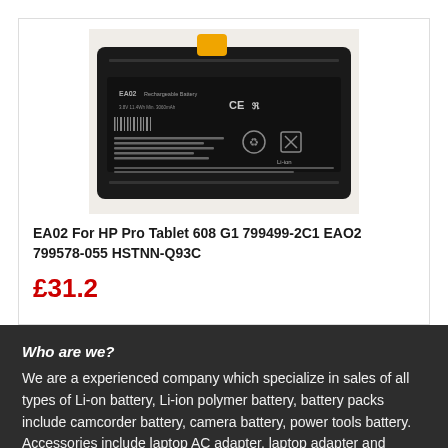[Figure (photo): A black rectangular rechargeable Li-ion battery labeled EA02 for HP Pro Tablet 608 G1, with certification marks (CE, UL) and a yellow connector tab at top.]
EA02 For HP Pro Tablet 608 G1 799499-2C1 EAO2 799578-055 HSTNN-Q93C
£31.2
Who are we?
We are a experienced company which specialize in sales of all types of Li-on battery, Li-ion polymer battery, battery packs include camcorder battery, camera battery, power tools battery. Accessories include laptop AC adapter, laptop adapter and battery.